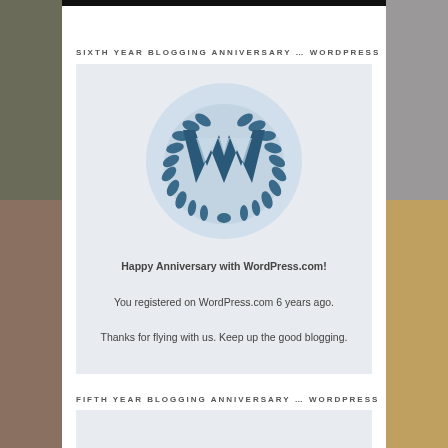SIXTH YEAR BLOGGING ANNIVERSARY … WORDPRESS
[Figure (logo): WordPress anniversary badge: WordPress 'W' logo with laurel wreath on a light blue circle, on a light grey background. Text below reads: Happy Anniversary with WordPress.com! You registered on WordPress.com 6 years ago. Thanks for flying with us. Keep up the good blogging.]
FIFTH YEAR BLOGGING ANNIVERSARY … WORDPRESS